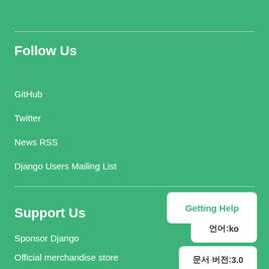Follow Us
GitHub
Twitter
News RSS
Django Users Mailing List
Support Us
Sponsor Django
Official merchandise store
Getting Help
언어: ko
문서 버전: 3.0